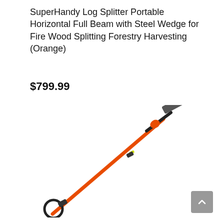SuperHandy Log Splitter Portable Horizontal Full Beam with Steel Wedge for Fire Wood Splitting Forestry Harvesting (Orange)
$799.99
[Figure (photo): A pole saw / pruning saw with an orange extending pole and black chainsaw head attachment at the top, angled diagonally from lower-left to upper-right against a white background.]